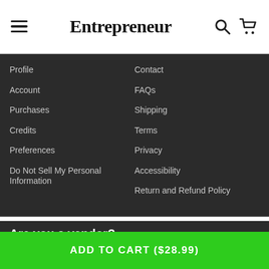Entrepreneur
Profile
Account
Purchases
Credits
Preferences
Do Not Sell My Personal Information
Contact
FAQs
Shipping
Terms
Privacy
Accessibility
Return and Refund Policy
Are you a vendor?
Get exclusive coverage to the world's top publisher sites through the StackCommerce network.
Learn More